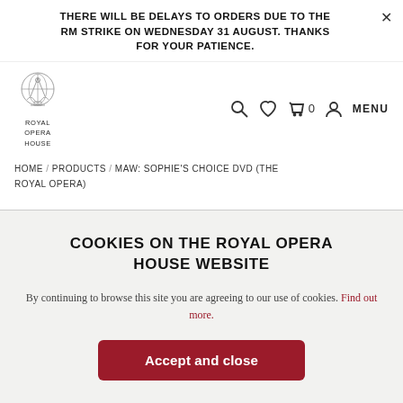THERE WILL BE DELAYS TO ORDERS DUE TO THE RM STRIKE ON WEDNESDAY 31 AUGUST. THANKS FOR YOUR PATIENCE.
[Figure (logo): Royal Opera House crest logo with text ROYAL OPERA HOUSE below]
HOME / PRODUCTS / MAW: SOPHIE'S CHOICE DVD (THE ROYAL OPERA)
COOKIES ON THE ROYAL OPERA HOUSE WEBSITE
By continuing to browse this site you are agreeing to our use of cookies. Find out more.
Accept and close